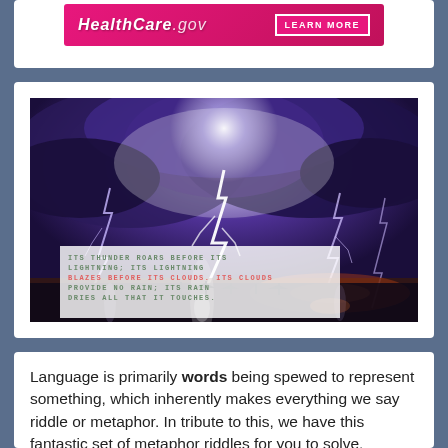[Figure (other): Healthcare.gov advertisement banner with pink/magenta background showing 'HealthCare.gov' logo and 'LEARN MORE' button]
[Figure (photo): Dramatic lightning storm photograph over water at dusk/night with multiple lightning bolts striking the sea, boats silhouetted on the horizon, and a semi-transparent white text overlay reading: ITS THUNDER ROARS BEFORE ITS LIGHTNING; ITS LIGHTNING BLAZES BEFORE ITS CLOUDS. ITS CLOUDS PROVIDE NO RAIN; ITS RAIN DRIES ALL THAT IT TOUCHES.]
Language is primarily words being spewed to represent something, which inherently makes everything we say riddle or metaphor. In tribute to this, we have this fantastic set of metaphor riddles for you to solve.